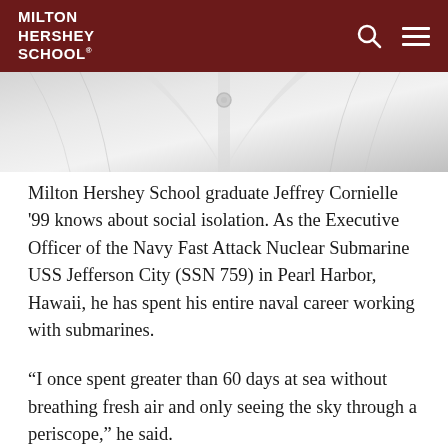MILTON HERSHEY SCHOOL
[Figure (photo): Close-up photograph of a white naval uniform shirt/collar, shown in grayscale]
Milton Hershey School graduate Jeffrey Cornielle '99 knows about social isolation. As the Executive Officer of the Navy Fast Attack Nuclear Submarine USS Jefferson City (SSN 759) in Pearl Harbor, Hawaii, he has spent his entire naval career working with submarines.
“I once spent greater than 60 days at sea without breathing fresh air and only seeing the sky through a periscope,” he said.